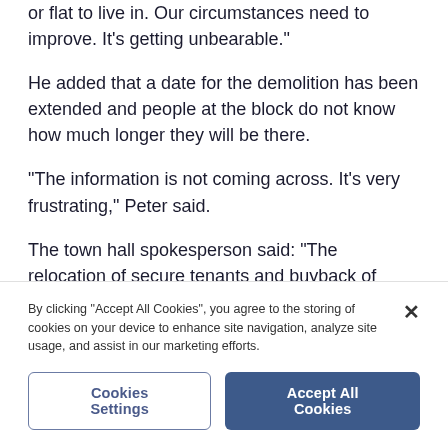or flat to live in. Our circumstances need to improve. It's getting unbearable."
He added that a date for the demolition has been extended and people at the block do not know how much longer they will be there.
"The information is not coming across. It's very frustrating," Peter said.
The town hall spokesperson said: “The relocation of secure tenants and buyback of leasehold properties across the eastern side of the Gascoigne Estate started in 2011 and was planned to be finalised around 2021.
By clicking “Accept All Cookies”, you agree to the storing of cookies on your device to enhance site navigation, analyze site usage, and assist in our marketing efforts.